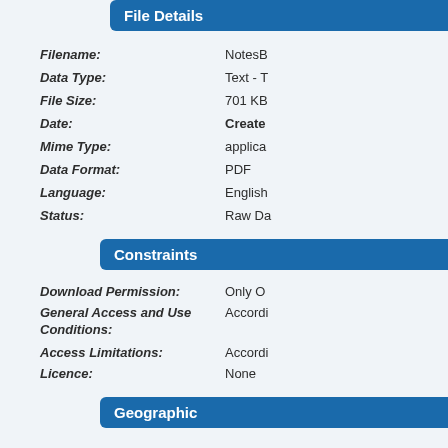File Details
Filename: NotesB...
Data Type: Text - T...
File Size: 701 KB...
Date: Created...
Mime Type: applica...
Data Format: PDF
Language: English...
Status: Raw Da...
Constraints
Download Permission: Only O...
General Access and Use Conditions: Accordi...
Access Limitations: Accordi...
Licence: None
Geographic